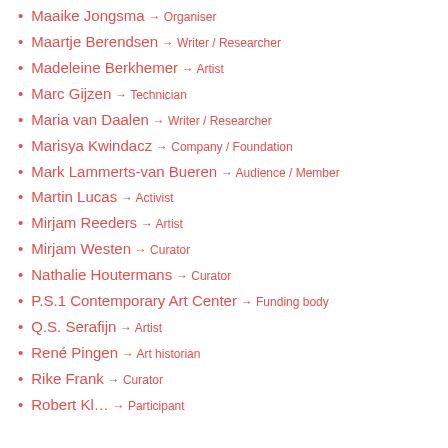Maaike Jongsma → Organiser
Maartje Berendsen → Writer / Researcher
Madeleine Berkhemer → Artist
Marc Gijzen → Technician
Maria van Daalen → Writer / Researcher
Marisya Kwindacz → Company / Foundation
Mark Lammerts-van Bueren → Audience / Member
Martin Lucas → Activist
Mirjam Reeders → Artist
Mirjam Westen → Curator
Nathalie Houtermans → Curator
P.S.1 Contemporary Art Center → Funding body
Q.S. Serafijn → Artist
René Pingen → Art historian
Rike Frank → Curator
Robert Kl… → Participant